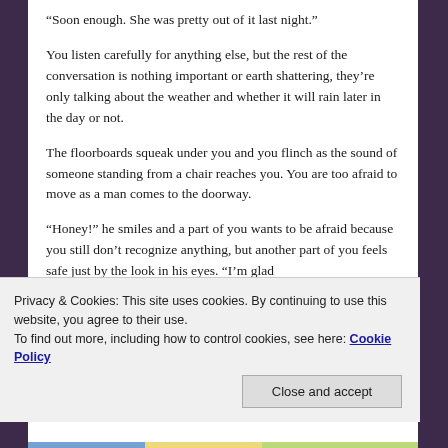“Soon enough. She was pretty out of it last night.”
You listen carefully for anything else, but the rest of the conversation is nothing important or earth shattering, they’re only talking about the weather and whether it will rain later in the day or not.
The floorboards squeak under you and you flinch as the sound of someone standing from a chair reaches you. You are too afraid to move as a man comes to the doorway.
“Honey!” he smiles and a part of you wants to be afraid because you still don’t recognize anything, but another part of you feels safe just by the look in his eyes. “I’m glad
Privacy & Cookies: This site uses cookies. By continuing to use this website, you agree to their use.
To find out more, including how to control cookies, see here: Cookie Policy
Close and accept